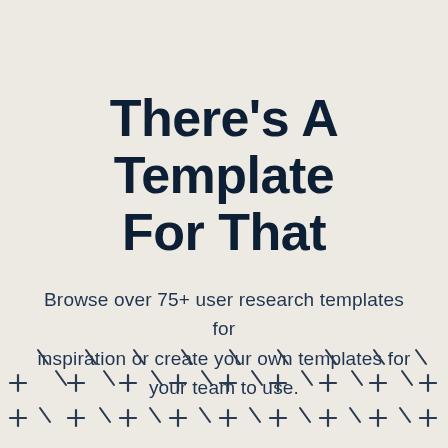There's A Template For That
Browse over 75+ user research templates for inspiration or create your own templates for your team to use.
[Figure (illustration): Decorative bottom border pattern with repeating plus signs (+) and diagonal tick marks (\) arranged in two rows at the bottom of the page, in dark navy color on a light beige background.]